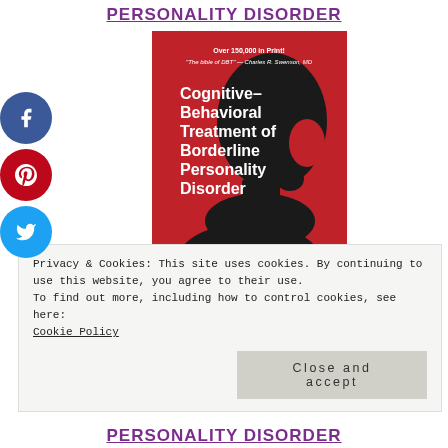PERSONALITY DISORDER
[Figure (illustration): Book cover of 'Cognitive-Behavioral Treatment of Borderline Personality Disorder' by Marsha M. Linehan. Red background with black silhouette of a head bowed down. Text at top reads 'Over 150,000 in Print!' and '"The bible of DBT" - Charles R. Swenson, MD'. Author name at bottom.]
Privacy & Cookies: This site uses cookies. By continuing to use this website, you agree to their use.
To find out more, including how to control cookies, see here:
Cookie Policy
Close and accept
PERSONALITY DISORDER